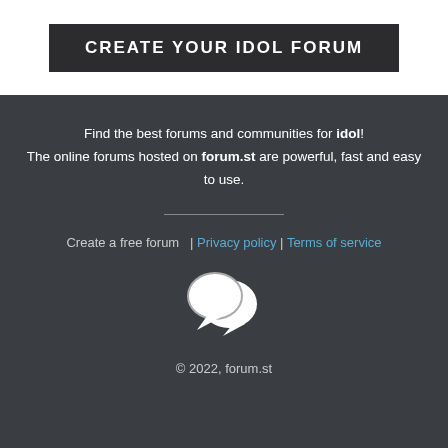CREATE YOUR IDOL FORUM
Find the best forums and communities for idol! The online forums hosted on forum.st are powerful, fast and easy to use.
Create a free forum  | Privacy policy | Terms of service
[Figure (illustration): Two overlapping chat bubble icons in white]
© 2022, forum.st